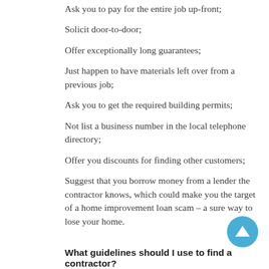Ask you to pay for the entire job up-front;
Solicit door-to-door;
Offer exceptionally long guarantees;
Just happen to have materials left over from a previous job;
Ask you to get the required building permits;
Not list a business number in the local telephone directory;
Offer you discounts for finding other customers;
Suggest that you borrow money from a lender the contractor knows, which could make you the target of a home improvement loan scam – a sure way to lose your home.
What guidelines should I use to find a contractor?